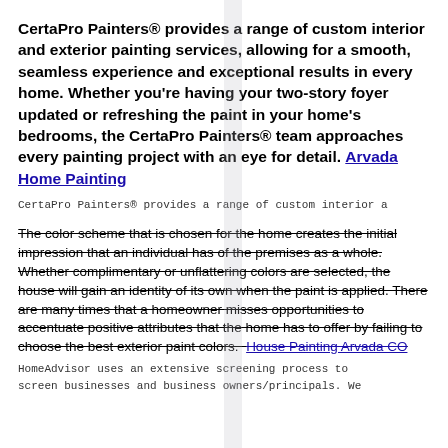CertaPro Painters® provides a range of custom interior and exterior painting services, allowing for a smooth, seamless experience and exceptional results in every home. Whether you're having your two-story foyer updated or refreshing the paint in your home's bedrooms, the CertaPro Painters® team approaches every painting project with an eye for detail. Arvada Home Painting
CertaPro Painters® provides a range of custom interior a...
The color scheme that is chosen for the home creates the initial impression that an individual has of the premises as a whole. Whether complimentary or unflattering colors are selected, the house will gain an identity of its own when the paint is applied. There are many times that a homeowner misses opportunities to accentuate positive attributes that the home has to offer by failing to choose the best exterior paint colors. House Painting Arvada CO
HomeAdvisor uses an extensive screening process to screen businesses and business owners/principals. We